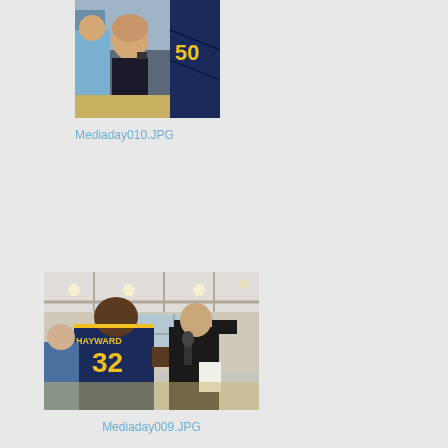[Figure (photo): Basketball media day photo showing a woman in a dark jacket smiling and taking a photo, with a player in a navy and gold uniform wearing number 50 visible in the background.]
Mediaday010.JPG
[Figure (photo): Basketball media day photo showing player number 32 (HAYWARD) in a navy and gold uniform being interviewed by a reporter holding a microphone, with other people visible in a gym background.]
Mediaday009.JPG